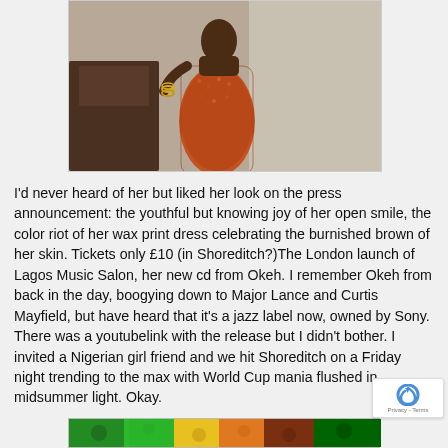[Figure (photo): A woman in a colorful wax print orange/brown patterned dress, wearing gold bangles, posing in an interior setting.]
I'd never heard of her but liked her look on the press announcement: the youthful but knowing joy of her open smile, the color riot of her wax print dress celebrating the burnished brown of her skin. Tickets only £10 (in Shoreditch?)The London launch of Lagos Music Salon, her new cd from Okeh. I remember Okeh from back in the day, boogying down to Major Lance and Curtis Mayfield, but have heard that it's a jazz label now, owned by Sony. There was a youtubelink with the release but I didn't bother. I invited a Nigerian girl friend and we hit Shoreditch on a Friday night trending to the max with World Cup mania flushed in midsummer light. Okay.
[Figure (photo): Partial view of a colorful wax print fabric strip in green, yellow, orange, and brown tones at the bottom of the page.]